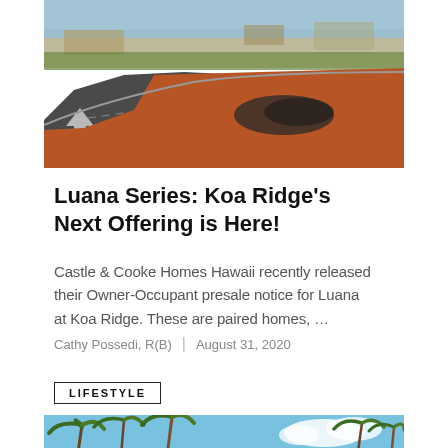[Figure (photo): Aerial/ground view of a construction site showing a paved road with a directional arrow marking, red dirt graded terrain, and distant hills under a cloudy sky — likely Koa Ridge development in Hawaii.]
Luana Series: Koa Ridge's Next Offering is Here!
Castle & Cooke Homes Hawaii recently released their Owner-Occupant presale notice for Luana at Koa Ridge. These are paired homes, …
Cathy Possedi, R(B)  |  August 31, 2020
LIFESTYLE
[Figure (photo): Palm trees against a bright blue sky, likely a tropical Hawaii beach or park scene.]